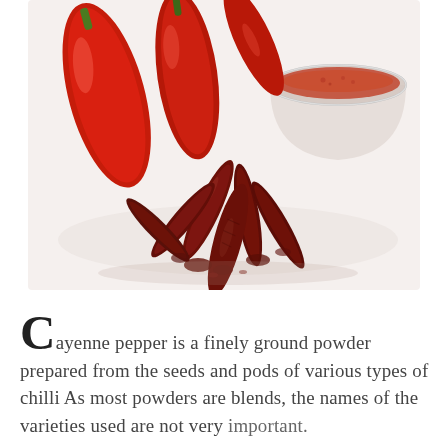[Figure (photo): Photo of red chili peppers (fresh red and dried dark red/brown chilies) with a glass bowl of red cayenne pepper powder in the upper right corner, on a white background.]
Cayenne pepper is a finely ground powder prepared from the seeds and pods of various types of chilli As most powders are blends, the names of the varieties used are not very important.